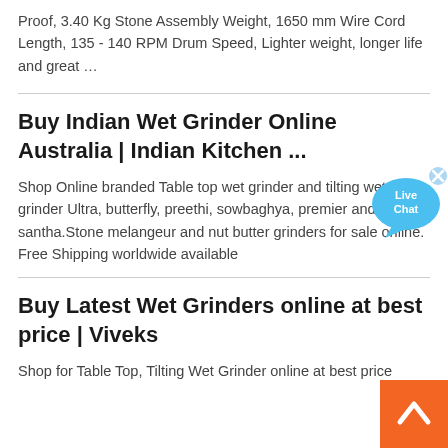Proof, 3.40 Kg Stone Assembly Weight, 1650 mm Wire Cord Length, 135 - 140 RPM Drum Speed, Lighter weight, longer life and great …
Buy Indian Wet Grinder Online Australia | Indian Kitchen ...
Shop Online branded Table top wet grinder and tilting wet grinder Ultra, butterfly, preethi, sowbaghya, premier and santha.Stone melangeur and nut butter grinders for sale online. Free Shipping worldwide available
Buy Latest Wet Grinders online at best price | Viveks
Shop for Table Top, Tilting Wet Grinder online at best price
[Figure (other): Live Chat speech bubble widget in blue]
[Figure (other): Orange scroll-to-top button with upward chevron arrow]